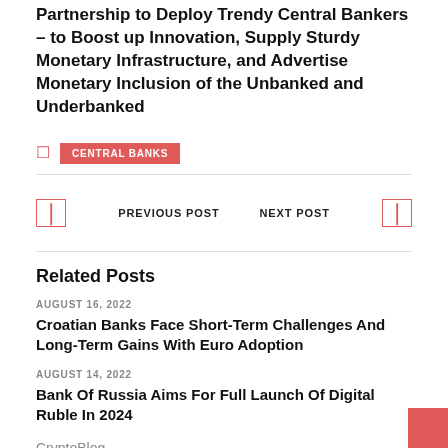Partnership to Deploy Trendy Central Bankers – to Boost up Innovation, Supply Sturdy Monetary Infrastructure, and Advertise Monetary Inclusion of the Unbanked and Underbanked
CENTRAL BANKS
PREVIOUS POST   NEXT POST
Related Posts
AUGUST 16, 2022
Croatian Banks Face Short-Term Challenges And Long-Term Gains With Euro Adoption
AUGUST 14, 2022
Bank Of Russia Aims For Full Launch Of Digital Ruble In 2024
CryptoBlog